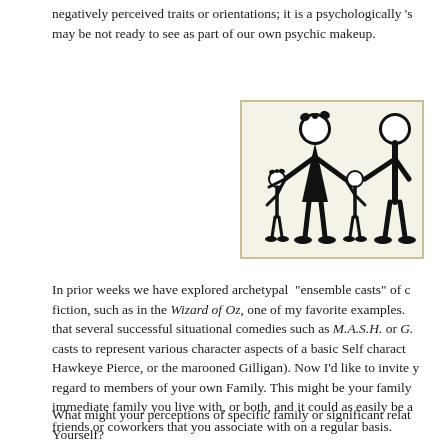negatively perceived traits or orientations; it is a psychologically 's may be not ready to see as part of our own psychic makeup.
[Figure (illustration): Stick figure drawing of a family: two adults (one female with bow, one male) holding hands with two small children between them, inside a beige-bordered box.]
In prior weeks we have explored archetypal “ensemble casts” of character in fiction, such as in the Wizard of Oz, one of my favorite examples. I noted that several successful situational comedies such as M.A.S.H. or G... casts to represent various character aspects of a basic Self character (e.g., Hawkeye Pierce, or the marooned Gilligan). Now I’d like to invite you in regard to members of your own Family. This might be your family of origin, immediate family you live with, or both, and it could as easily be a group of friends or coworkers that you associate with on a regular basis.
What might your perceptions of specific family or significant relat... Yourself?